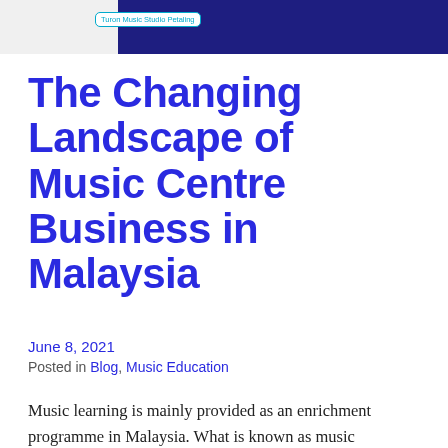[Figure (photo): Top portion of a blog page showing a person in a dark blue shirt, partially cropped, with a badge/logo overlay reading 'Turon Music Studio Petaling']
The Changing Landscape of Music Centre Business in Malaysia
June 8, 2021
Posted in Blog, Music Education
Music learning is mainly provided as an enrichment programme in Malaysia. What is known as music